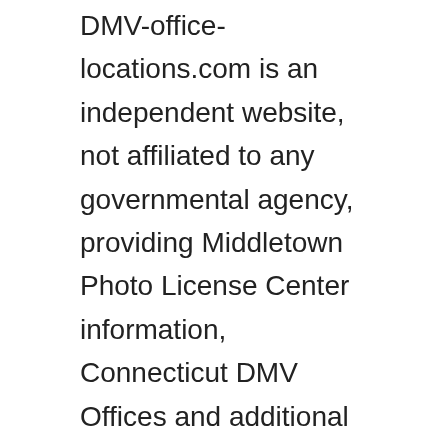DMV-office-locations.com is an independent website, not affiliated to any governmental agency, providing Middletown Photo License Center information, Connecticut DMV Offices and additional DMV agencies and offices nationwide, phone numbers, address, and DMV appointments. To send us new information for Middletown Photo License Center, please reach out and send us a message, with the new information.
More DMV Offices
Milford AAA Office
Milford Photo License Center